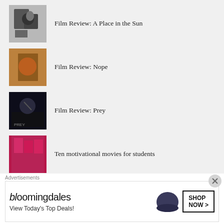Film Review: A Place in the Sun
Film Review: Nope
Film Review: Prey
Ten motivational movies for students
Film Review: The Drover's Wife: The Legend of Molly Johnson
ABOUT
Founded in 2010, CineVue's team of passionate cinéastes
[Figure (other): Bloomingdale's advertisement banner: View Today's Top Deals! with SHOP NOW button]